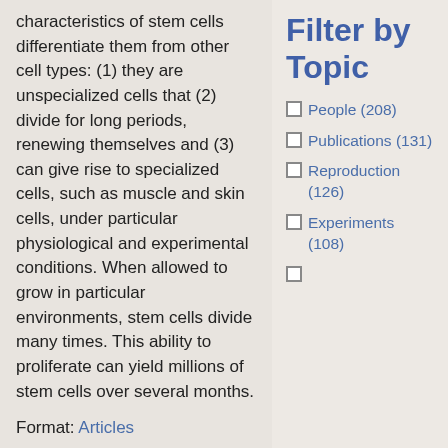characteristics of stem cells differentiate them from other cell types: (1) they are unspecialized cells that (2) divide for long periods, renewing themselves and (3) can give rise to specialized cells, such as muscle and skin cells, under particular physiological and experimental conditions. When allowed to grow in particular environments, stem cells divide many times. This ability to proliferate can yield millions of stem cells over several months.
Format: Articles
Filter by Topic
People (208)
Publications (131)
Reproduction (126)
Experiments (108)